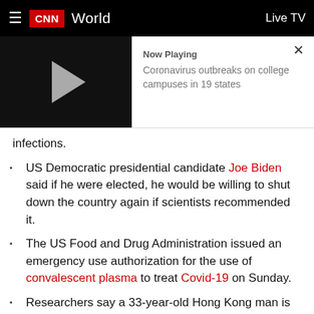CNN World | Live TV
[Figure (screenshot): Video player thumbnail with play button showing 'Now Playing: Coronavirus outbreaks on college campuses in 19 states']
infections.
US Democratic presidential candidate Joe Biden said if he were elected, he would be willing to shut down the country again if scientists recommended it.
The US Food and Drug Administration issued an emergency use authorization for the use of convalescent plasma to treat Covid-19 on Sunday.
Researchers say a 33-year-old Hong Kong man is the first person confirmed to have Covid-19 twice — but further study is needed.